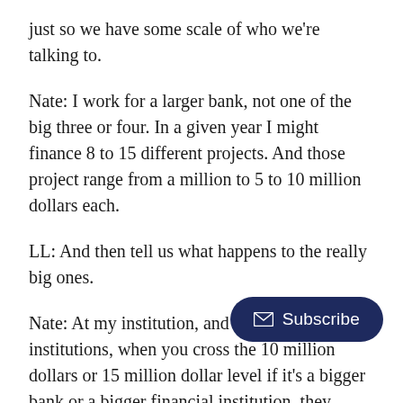just so we have some scale of who we're talking to.
Nate: I work for a larger bank, not one of the big three or four. In a given year I might finance 8 to 15 different projects. And those project range from a million to 5 to 10 million dollars each.
LL: And then tell us what happens to the really big ones.
Nate: At my institution, and a lot of other institutions, when you cross the 10 million dollars or 15 million dollar level if it's a bigger bank or a bigger financial institution, they g specialized free lending group who only does commercial real estate and they tend to go after